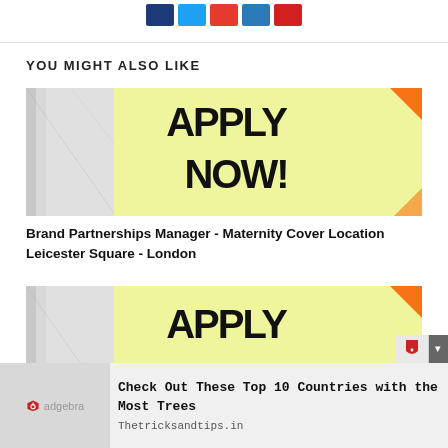[Figure (other): Social share buttons: Facebook (dark blue), Twitter (light blue), Google+ (red-orange), LinkedIn (blue), Pinterest (red)]
YOU MIGHT ALSO LIKE
[Figure (photo): Yellow sticky note with 'APPLY NOW!' written in large bold handwritten marker text, placed on a white notebook/binder background with orange sticky note corner visible]
Brand Partnerships Manager - Maternity Cover Location Leicester Square - London
[Figure (photo): Yellow sticky note with 'APPLY NOW!' written in large bold handwritten marker text, placed on a white notebook/binder background with orange sticky note corner visible (partially visible)]
Check Out These Top 10 Countries with the Most Trees
Thetricksandtips.in